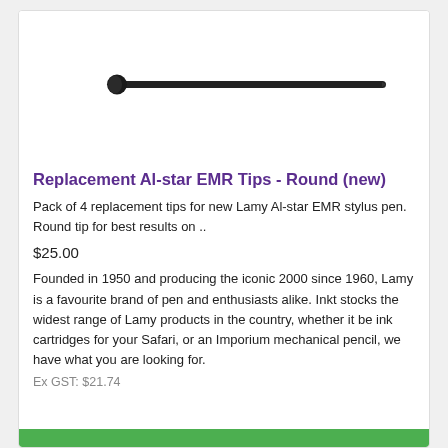[Figure (photo): A thin black stylus pen tip / replacement EMR tip shown horizontally against a white background.]
Replacement Al-star EMR Tips - Round (new)
Pack of 4 replacement tips for new Lamy Al-star EMR stylus pen. Round tip for best results on ..
$25.00
Founded in 1950 and producing the iconic 2000 since 1960, Lamy is a favourite brand of pen and enthusiasts alike. Inkt stocks the widest range of Lamy products in the country, whether it be ink cartridges for your Safari, or an Imporium mechanical pencil, we have what you are looking for.
Ex GST: $21.74